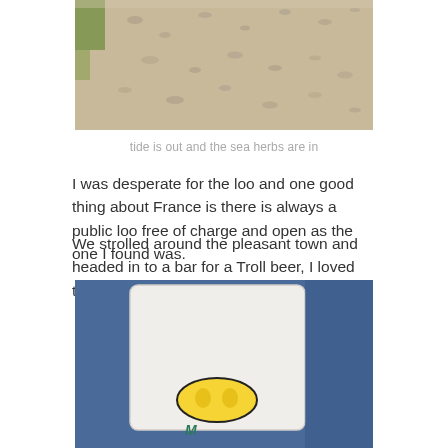[Figure (photo): Photo of a sandy beach with sea herbs visible, taken from above showing the textured sand surface with patches of green vegetation at the top left edge.]
tide is out and the sea herbs are in
I was desperate for the loo and one good thing about France is there is always a public loo free of charge and open as the one I found was.
We strolled around the pleasant town and headed in to a bar for a Troll beer, I loved the glasses.
[Figure (photo): Close-up photo of a white Troll beer glass or mug with a yellow and black Troll logo visible at the bottom, set against a blue background with another person partially visible.]